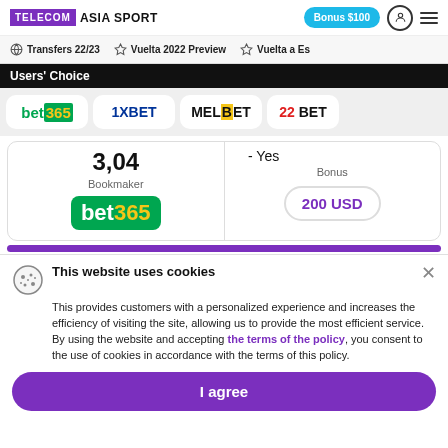TELECOM ASIA SPORT | Bonus $100
Transfers 22/23 | Vuelta 2022 Preview | Vuelta a Es
Users' Choice
[Figure (logo): Bookmaker logos row: bet365, 1XBET, MELBET, 22BET]
|  |  |
| --- | --- |
| 3,04 | - Yes |
| Bookmaker | Bonus |
| bet365 | 200 USD |
This website uses cookies
This provides customers with a personalized experience and increases the efficiency of visiting the site, allowing us to provide the most efficient service. By using the website and accepting the terms of the policy, you consent to the use of cookies in accordance with the terms of this policy.
I agree